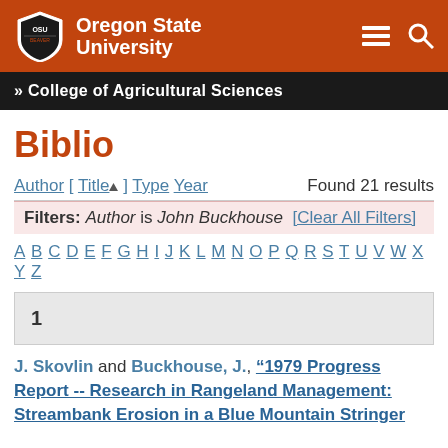[Figure (logo): Oregon State University logo with shield and text on orange/red background with hamburger menu and search icons]
» College of Agricultural Sciences
Biblio
Author [ Title ] Type Year   Found 21 results
Filters: Author is John Buckhouse  [Clear All Filters]
A B C D E F G H I J K L M N O P Q R S T U V W X Y Z
1
J. Skovlin and Buckhouse, J., "1979 Progress Report -- Research in Rangeland Management: Streambank Erosion in a Blue Mountain Stringer